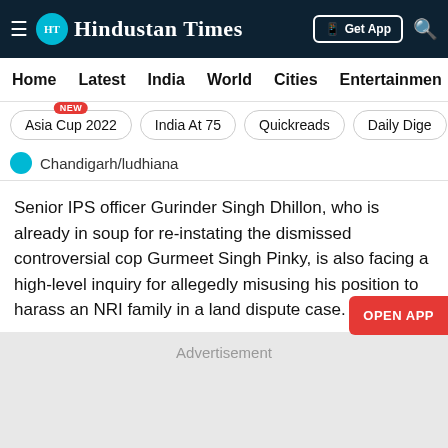Hindustan Times
Home  Latest  India  World  Cities  Entertainment
Asia Cup 2022  India At 75  Quickreads  Daily Digest
Chandigarh/ludhiana
Senior IPS officer Gurinder Singh Dhillon, who is already in soup for re-instating the dismissed controversial cop Gurmeet Singh Pinky, is also facing a high-level inquiry for allegedly misusing his position to harass an NRI family in a land dispute case.
Advertisement